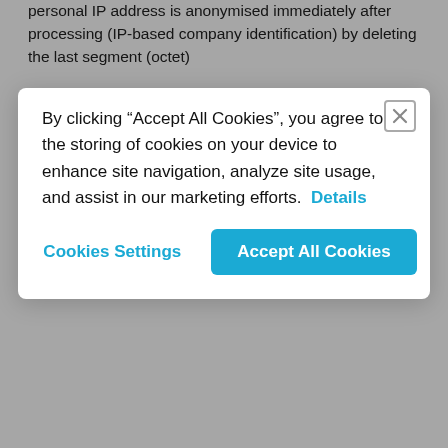personal IP address is anonymised immediately after processing (IP-based company identification) by deleting the last segment (octet) and this is still the last bit
By clicking “Accept All Cookies”, you agree to the storing of cookies on your device to enhance site navigation, analyze site usage, and assist in our marketing efforts. Details
Cookies Settings
Accept All Cookies
in a user’s browser, these are used to analyze how this website is used. The collected data is used only for statistical purposes and in an anonymised form. Your browser is assigned a pseudonym identification number (ID). DoubleClick cookies do not contain any personal data. You can opt out of the use of cookies by downloading and installing the browser plug-in available from the following link in the DoubleClick deactivation extension section. Alternatively, you can deactivate the